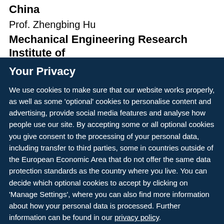China
Prof. Zhengbing Hu
Mechanical Engineering Research Institute of
Your Privacy
We use cookies to make sure that our website works properly, as well as some 'optional' cookies to personalise content and advertising, provide social media features and analyse how people use our site. By accepting some or all optional cookies you give consent to the processing of your personal data, including transfer to third parties, some in countries outside of the European Economic Area that do not offer the same data protection standards as the country where you live. You can decide which optional cookies to accept by clicking on 'Manage Settings', where you can also find more information about how your personal data is processed. Further information can be found in our privacy policy.
Accept all cookies
Manage preferences